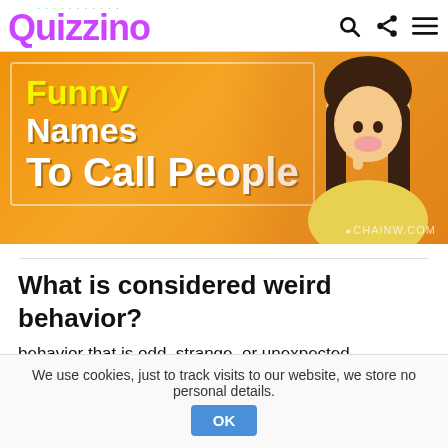Quizzino
[Figure (photo): Orange background image with text 'Funny Names To Call People' and a woman holding finger to lips in a shushing gesture, with watermark text.]
What is considered weird behavior?
behavior that is odd, strange, or unexpected, particularly if
We use cookies, just to track visits to our website, we store no personal details. OK